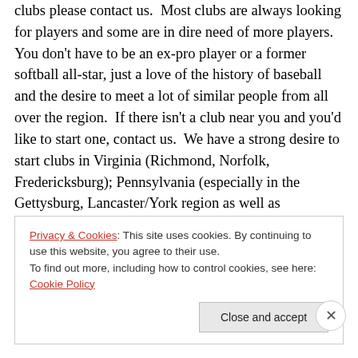clubs please contact us.  Most clubs are always looking for players and some are in dire need of more players.  You don't have to be an ex-pro player or a former softball all-star, just a love of the history of baseball and the desire to meet a lot of similar people from all over the region.  If there isn't a club near you and you'd like to start one, contact us.  We have a strong desire to start clubs in Virginia (Richmond, Norfolk, Fredericksburg); Pennsylvania (especially in the Gettysburg, Lancaster/York region as well as Scranton/Wilkes-Barre and Allentown areas); western Maryland, and southern
Privacy & Cookies: This site uses cookies. By continuing to use this website, you agree to their use.
To find out more, including how to control cookies, see here: Cookie Policy
Close and accept
Advertisements